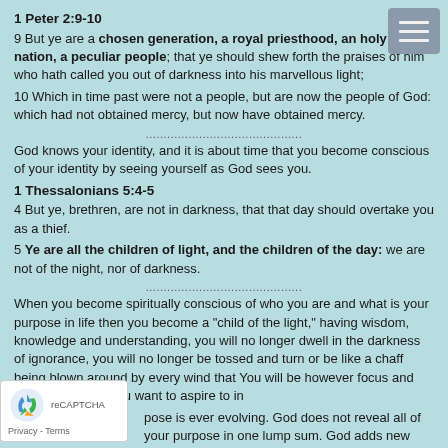1 Peter 2:9-10
9 But ye are a chosen generation, a royal priesthood, an holy nation, a peculiar people; that ye should shew forth the praises of him who hath called you out of darkness into his marvellous light;
10 Which in time past were not a people, but are now the people of God: which had not obtained mercy, but now have obtained mercy.
God knows your identity, and it is about time that you become conscious of your identity by seeing yourself as God sees you.
1 Thessalonians 5:4-5
4 But ye, brethren, are not in darkness, that that day should overtake you as a thief.
5 Ye are all the children of light, and the children of the day: we are not of the night, nor of darkness.
When you become spiritually conscious of who you are and what is your purpose in life then you become a "child of the light," having wisdom, knowledge and understanding, you will no longer dwell in the darkness of ignorance, you will no longer be tossed and turn or be like a chaff being blown around by every wind that You will be however focus and sure about what you want to aspire to in
pose is ever evolving. God does not reveal all of your purpose in one lump sum. God adds new level to it as you begin to fulfill each part.